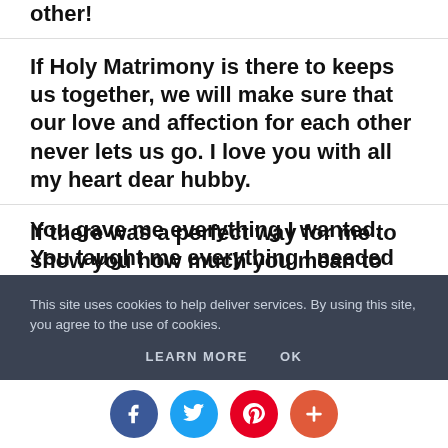other!
If Holy Matrimony is there to keeps us together, we will make sure that our love and affection for each other never lets us go. I love you with all my heart dear hubby.
If there was a perfect way for me to show you how much you mean to me, I'd be the happiest person in the world. Because you gave me everything I wanted. You taught me everything I needed to know. You
This site uses cookies to help deliver services. By using this site, you agree to the use of cookies.
LEARN MORE   OK